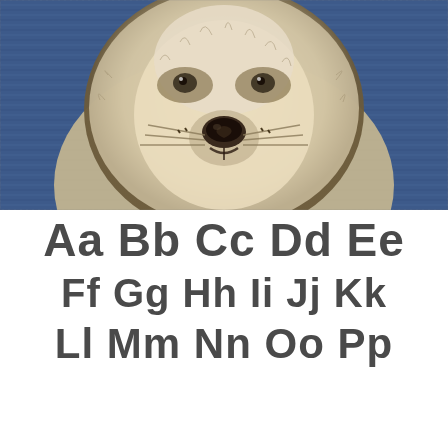[Figure (illustration): Wolf face embroidery on denim fabric background. The wolf is depicted with cream/tan fur, dark nose, whiskers, and eyes, embroidered onto blue denim textile.]
Aa Bb Cc Dd Ee
Ff Gg Hh Ii Jj Kk
Ll Mm Nn Oo Pp